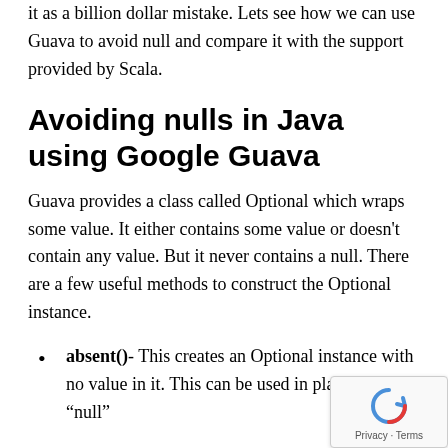it as a billion dollar mistake. Lets see how we can use Guava to avoid null and compare it with the support provided by Scala.
Avoiding nulls in Java using Google Guava
Guava provides a class called Optional which wraps some value. It either contains some value or doesn't contain any value. But it never contains a null. There are a few useful methods to construct the Optional instance.
absent()- This creates an Optional instance with no value in it. This can be used in place of the “null”